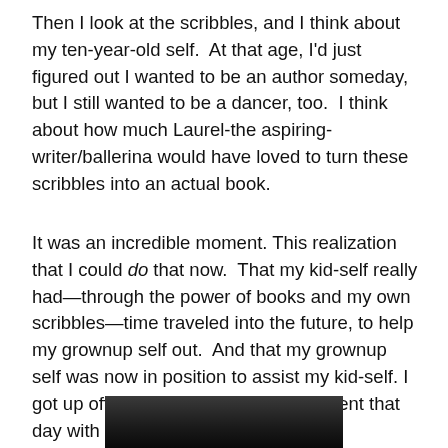Then I look at the scribbles, and I think about my ten-year-old self.  At that age, I'd just figured out I wanted to be an author someday, but I still wanted to be a dancer, too.  I think about how much Laurel-the aspiring-writer/ballerina would have loved to turn these scribbles into an actual book.
It was an incredible moment. This realization that I could do that now.  That my kid-self really had—through the power of books and my own scribbles—time traveled into the future, to help my grownup self out.  And that my grownup self was now in position to assist my kid-self. I got up off the floor and left the basement that day with an idea for a new book.
[Figure (photo): Partial photograph of a person, cropped at the bottom of the page, showing the top portion of an image against a dark background.]